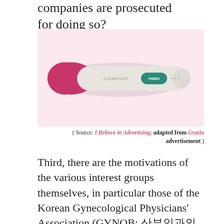companies are prosecuted for doing so?
[Figure (photo): A Cleartest digital pregnancy test with pink/magenta handle end and white body showing a teal FINED result window, on a pink background.]
( Source: I Believe in Advertising; adapted from Grazia advertisement )
Third, there are the motivations of the various interest groups themselves, in particular those of the Korean Gynecological Physicians' Association (GYNOB; 산부인과의사회), a new group of 600-700 obstetricians that has sought forgiveness from the public for performing abortions in